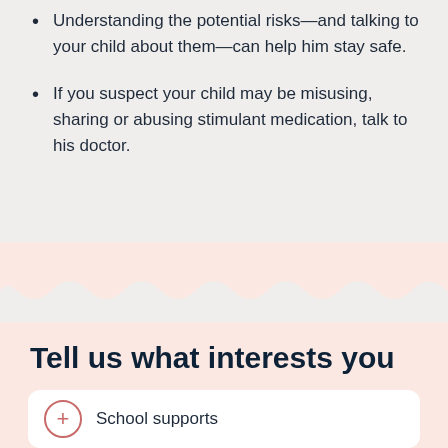Understanding the potential risks—and talking to your child about them—can help him stay safe.
If you suspect your child may be misusing, sharing or abusing stimulant medication, talk to his doctor.
Tell us what interests you
School supports